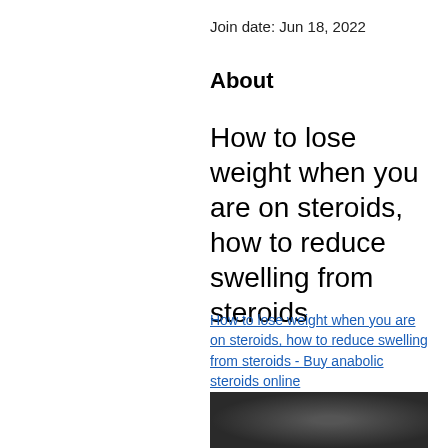Join date: Jun 18, 2022
About
How to lose weight when you are on steroids, how to reduce swelling from steroids
How to lose weight when you are on steroids, how to reduce swelling from steroids - Buy anabolic steroids online
[Figure (photo): Dark blurred photograph, partially visible at the bottom of the page]